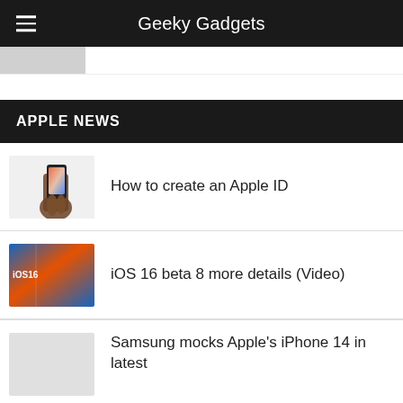Geeky Gadgets
[Figure (screenshot): Partially visible image at top of page below header]
APPLE NEWS
[Figure (photo): Hand holding iPhone with colorful screen]
How to create an Apple ID
[Figure (screenshot): iOS 16 beta promotional image with blue and orange gradient]
iOS 16 beta 8 more details (Video)
[Figure (photo): Partially visible image for Samsung article]
Samsung mocks Apple's iPhone 14 in latest